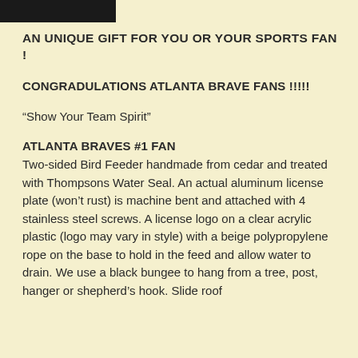AN UNIQUE GIFT FOR YOU OR YOUR SPORTS FAN !
CONGRADULATIONS ATLANTA BRAVE FANS !!!!!
“Show Your Team Spirit”
ATLANTA BRAVES #1 FAN
Two-sided Bird Feeder handmade from cedar and treated with Thompsons Water Seal. An actual aluminum license plate (won’t rust) is machine bent and attached with 4 stainless steel screws. A license logo on a clear acrylic plastic (logo may vary in style) with a beige polypropylene rope on the base to hold in the feed and allow water to drain. We use a black bungee to hang from a tree, post, hanger or shepherd’s hook. Slide roof